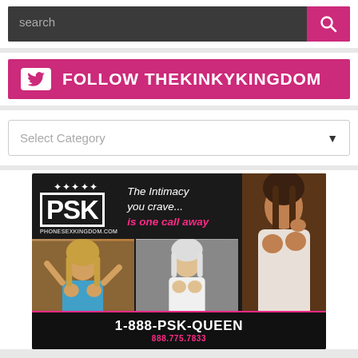[Figure (screenshot): Search bar with dark background and pink search button with magnifying glass icon]
[Figure (infographic): Pink Twitter follow banner reading FOLLOW THEKINKYKINGDOM with white Twitter bird icon on left]
[Figure (infographic): Dropdown select box with placeholder text Select Category and downward arrow]
[Figure (photo): PSK PhoneSexKingdom.com advertisement with tagline The Intimacy you crave... is one call away, three women photos, and phone number 1-888-PSK-QUEEN / 888.775.7833]